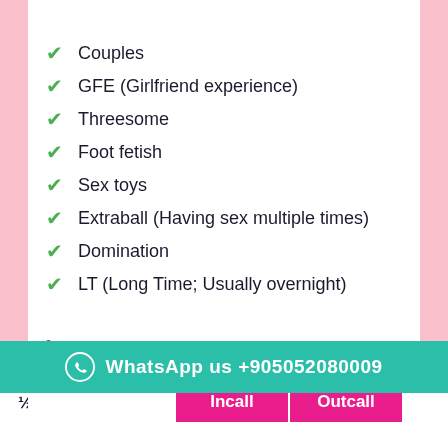Golden shower (partial, cut off at top)
Couples
GFE (Girlfriend experience)
Threesome
Foot fetish
Sex toys
Extraball (Having sex multiple times)
Domination
LT (Long Time; Usually overnight)
RATES:
|  | Incall | Outcall |
| --- | --- | --- |
| ½ hour | 800 USD | 800 USD |
WhatsApp us +905052080009